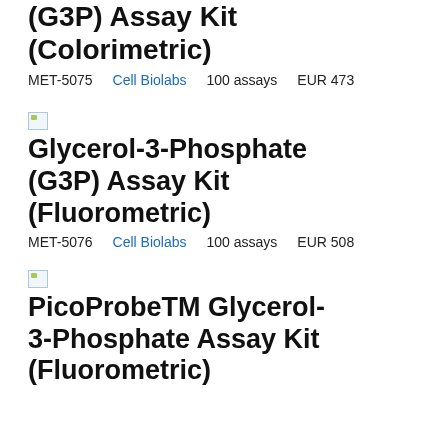(G3P) Assay Kit (Colorimetric)
MET-5075   Cell Biolabs   100 assays   EUR 473
[Figure (photo): Small broken image placeholder icon for product image]
Glycerol-3-Phosphate (G3P) Assay Kit (Fluorometric)
MET-5076   Cell Biolabs   100 assays   EUR 508
[Figure (photo): Small broken image placeholder icon for product image]
PicoProbeTM Glycerol-3-Phosphate Assay Kit (Fluorometric)